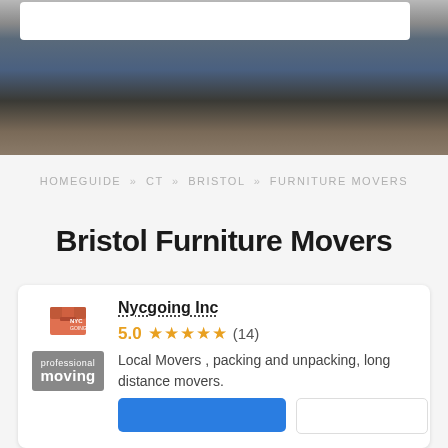[Figure (photo): Hero image showing a person's legs/feet wearing jeans and dark shoes, standing on a wood-colored floor near furniture, partially obscured by a white search box at the top.]
HOMEGUIDE » CT » BRISTOL » FURNITURE MOVERS
Bristol Furniture Movers
[Figure (logo): Nycgoing Inc logo — red/orange moving box icon with 'NYC GOING' text]
Nycgoing Inc
5.0 ★★★★★ (14)
Local Movers , packing and unpacking, long distance movers.